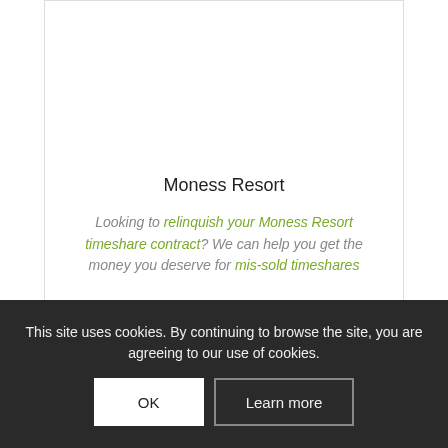Moness Resort
Looking to relinquish your Moness Resort timeshare contract? We can help you get the money you deserve for mis-sold timeshares
This site uses cookies. By continuing to browse the site, you are agreeing to our use of cookies.